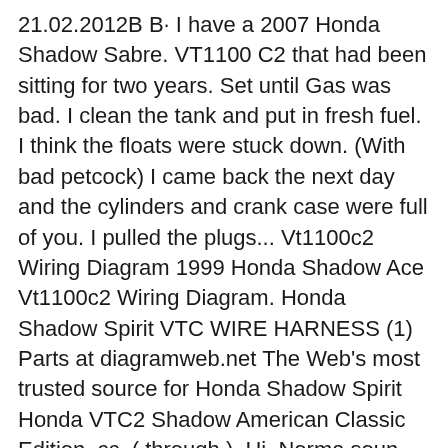21.02.2012B В· I have a 2007 Honda Shadow Sabre. VT1100 C2 that had been sitting for two years. Set until Gas was bad. I clean the tank and put in fresh fuel. I think the floats were stuck down. (With bad petcock) I came back the next day and the cylinders and crank case were full of you. I pulled the plugs... Vt1100c2 Wiring Diagram 1999 Honda Shadow Ace Vt1100c2 Wiring Diagram. Honda Shadow Spirit VTC WIRE HARNESS (1) Parts at diagramweb.net The Web's most trusted source for Honda Shadow Spirit Honda VTC2 Shadow American Classic Edition, cc. ( through ). Hi, Norma soun
Honda VT1100C2 Pdf User Manuals.